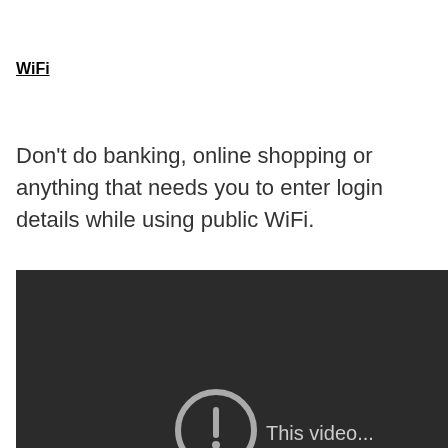WiFi
Don’t do banking, online shopping or anything that needs you to enter login details while using public WiFi.
[Figure (screenshot): Dark video player thumbnail showing a circular info/play icon and the beginning of the text 'This video...' on a dark background]